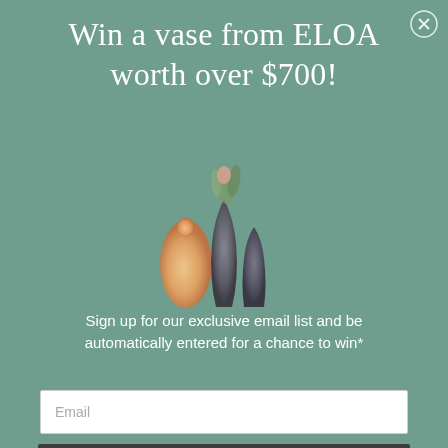Win a vase from ELOA worth over $700!
[Figure (illustration): Three decorative vases arranged together — a warm glowing amber/peach vase on the left, a dark smoky tall vase in the center with foliage/plant stems, and another dark vase on the right, all on a teal-green background.]
Sign up for our exclusive email list and be automatically entered for a chance to win*
Email
Enter the Giveaway
*Please read our terms and conditions here